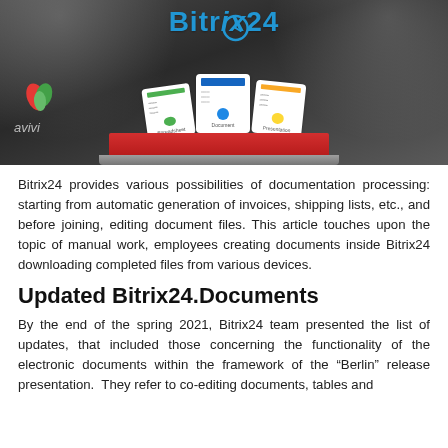[Figure (illustration): Bitrix24 banner with logo, document cards (Spreadsheet, Document, Presentation) on a red stage, avivi logo on left, clock icon on right, dark spotlight background]
Bitrix24 provides various possibilities of documentation processing: starting from automatic generation of invoices, shipping lists, etc., and before joining, editing document files. This article touches upon the topic of manual work, employees creating documents inside Bitrix24 downloading completed files from various devices.
Updated Bitrix24.Documents
By the end of the spring 2021, Bitrix24 team presented the list of updates, that included those concerning the functionality of the electronic documents within the framework of the “Berlin” release presentation.  They refer to co-editing documents, tables and